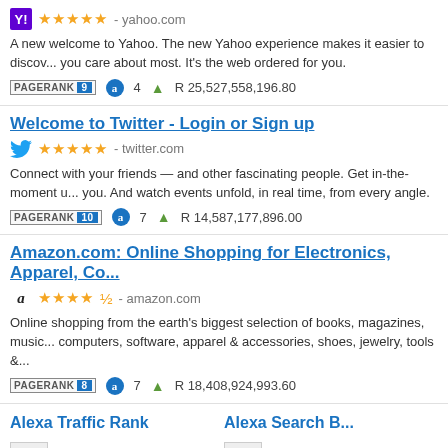Yahoo - yahoo.com
PageRank 9, Alexa 4, R 25,527,558,196.80
A new welcome to Yahoo. The new Yahoo experience makes it easier to discover all the things you care about most. It's the web ordered for you.
Welcome to Twitter - Login or Sign up - twitter.com
PageRank 10, Alexa 7, R 14,587,177,896.00
Connect with your friends — and other fascinating people. Get in-the-moment updates on the things that interest you. And watch events unfold, in real time, from every angle.
Amazon.com: Online Shopping for Electronics, Apparel, Co... - amazon.com
PageRank 8, Alexa 7, R 18,408,924,993.60
Online shopping from the earth's biggest selection of books, magazines, music, DVDs, videos, electronics, computers, software, apparel & accessories, shoes, jewelry, tools &...
Alexa Traffic Rank
Alexa Search B...